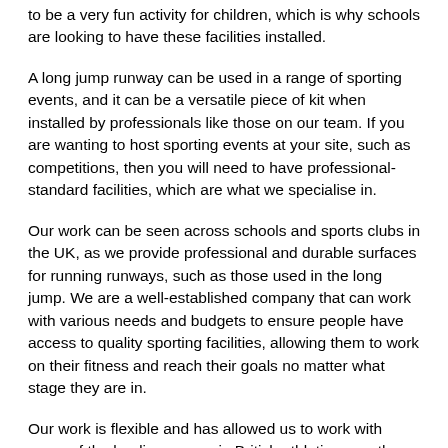to be a very fun activity for children, which is why schools are looking to have these facilities installed.
A long jump runway can be used in a range of sporting events, and it can be a versatile piece of kit when installed by professionals like those on our team. If you are wanting to host sporting events at your site, such as competitions, then you will need to have professional-standard facilities, which are what we specialise in.
Our work can be seen across schools and sports clubs in the UK, as we provide professional and durable surfaces for running runways, such as those used in the long jump. We are a well-established company that can work with various needs and budgets to ensure people have access to quality sporting facilities, allowing them to work on their fitness and reach their goals no matter what stage they are in.
Our work is flexible and has allowed us to work with some of the leading names in British athletics over the years, giving us a good reputation for our services.
If you are interested in learning more about the work we do or are